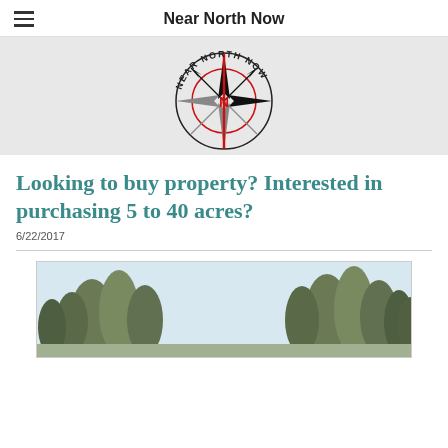Near North Now
[Figure (logo): Near North Now compass logo — a compass rose with a bold red vertical line through the center marked with 'N', surrounded by a circle, with 'NEAR NORTH NOW' text arched above. Gray background band.]
Looking to buy property? Interested in purchasing 5 to 40 acres?
6/22/2017
[Figure (photo): Outdoor photo showing a row of tall pine trees against a pale sky, cropped at the bottom of the page.]